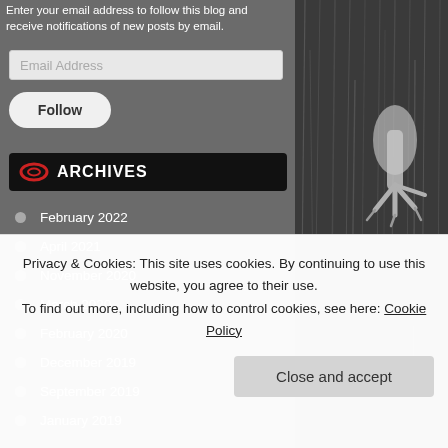Enter your email address to follow this blog and receive notifications of new posts by email.
Email Address
Follow
ARCHIVES
February 2022
April 2021
November 2020
March 2020
February 2020
December 2019
September 2019
January 2019
[Figure (photo): Black and white photo of a bird's leg/foot in grass or nest]
The 5 Books
Blinkist
Privacy & Cookies: This site uses cookies. By continuing to use this website, you agree to their use.
To find out more, including how to control cookies, see here: Cookie Policy
Close and accept